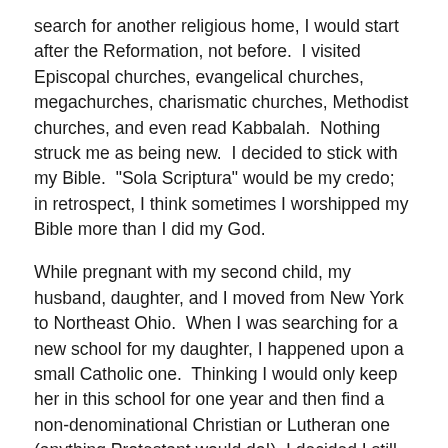search for another religious home, I would start after the Reformation, not before.  I visited Episcopal churches, evangelical churches, megachurches, charismatic churches, Methodist churches, and even read Kabbalah.  Nothing struck me as being new.  I decided to stick with my Bible.  "Sola Scriptura" would be my credo; in retrospect, I think sometimes I worshipped my Bible more than I did my God.
While pregnant with my second child, my husband, daughter, and I moved from New York to Northeast Ohio.  When I was searching for a new school for my daughter, I happened upon a small Catholic one.  Thinking I would only keep her in this school for one year and then find a non-denominational Christian or Lutheran one (anything Protestant would do!), I decided I still better do some homework about what Catholic theology really entailed.  I am that kind of mother; I cannot expose my kids to anything I have no prior knowledge of, lest I be unprepared to help them.